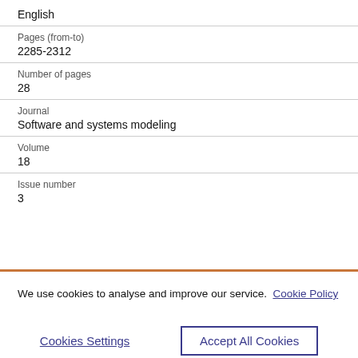English
Pages (from-to)
2285-2312
Number of pages
28
Journal
Software and systems modeling
Volume
18
Issue number
3
We use cookies to analyse and improve our service. Cookie Policy
Cookies Settings
Accept All Cookies